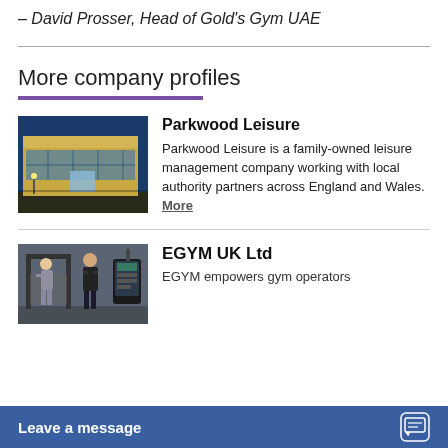– David Prosser, Head of Gold's Gym UAE
More company profiles
[Figure (photo): Exterior of a modern leisure centre building at dusk with blue sky]
Parkwood Leisure
Parkwood Leisure is a family-owned leisure management company working with local authority partners across England and Wales. More
[Figure (photo): Two people using gym equipment, one elderly person working out with a trainer]
EGYM UK Ltd
EGYM empowers gym operators
Leave a message